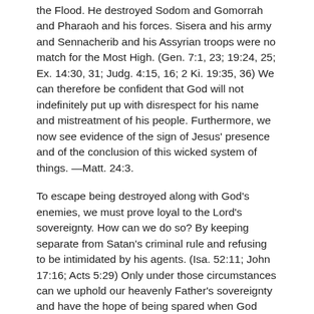the Flood. He destroyed Sodom and Gomorrah and Pharaoh and his forces. Sisera and his army and Sennacherib and his Assyrian troops were no match for the Most High. (Gen. 7:1, 23; 19:24, 25; Ex. 14:30, 31; Judg. 4:15, 16; 2 Ki. 19:35, 36) We can therefore be confident that God will not indefinitely put up with disrespect for his name and mistreatment of his people. Furthermore, we now see evidence of the sign of Jesus' presence and of the conclusion of this wicked system of things. —Matt. 24:3.
To escape being destroyed along with God's enemies, we must prove loyal to the Lord's sovereignty. How can we do so? By keeping separate from Satan's criminal rule and refusing to be intimidated by his agents. (Isa. 52:11; John 17:16; Acts 5:29) Only under those circumstances can we uphold our heavenly Father's sovereignty and have the hope of being spared when God clears his name of reproach and demonstrates that he is the Universal Sovereign. http://biblehub.com/psalms/83-18.htm Details regarding mankind and the Lord's sovereignty are presented throughout the Bible. The first three chapters tell us about creation and the fall of man into sin, whereas the last three deal with mankind's recovery. The intervening pages...